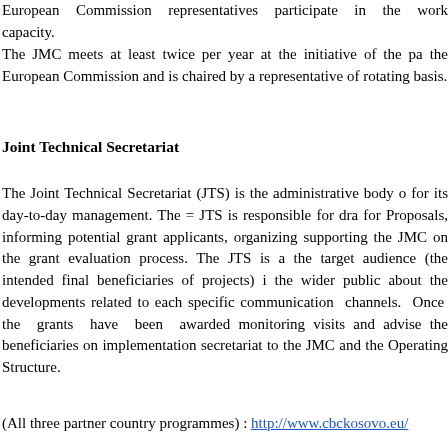European Commission representatives participate in the work capacity.
The JMC meets at least twice per year at the initiative of the pa the European Commission and is chaired by a representative of rotating basis.
Joint Technical Secretariat
The Joint Technical Secretariat (JTS) is the administrative body for its day-to-day management. The = JTS is responsible for dra for Proposals, informing potential grant applicants, organizing supporting the JMC on the grant evaluation process. The JTS is a the target audience (the intended final beneficiaries of projects) i the wider public about the developments related to each specific communication channels. Once the grants have been awarded monitoring visits and advise the beneficiaries on implementation secretariat to the JMC and the Operating Structure.
(All three partner country programmes) : http://www.cbckosovo.eu/